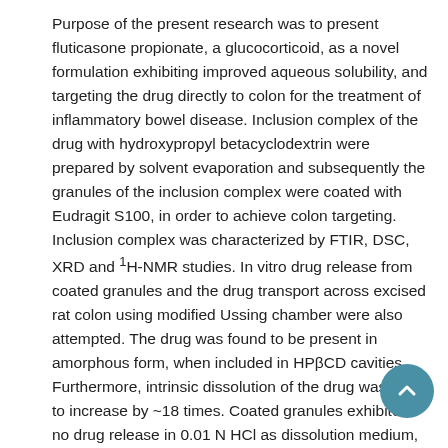Purpose of the present research was to present fluticasone propionate, a glucocorticoid, as a novel formulation exhibiting improved aqueous solubility, and targeting the drug directly to colon for the treatment of inflammatory bowel disease. Inclusion complex of the drug with hydroxypropyl betacyclodextrin were prepared by solvent evaporation and subsequently the granules of the inclusion complex were coated with Eudragit S100, in order to achieve colon targeting. Inclusion complex was characterized by FTIR, DSC, XRD and ¹H-NMR studies. In vitro drug release from coated granules and the drug transport across excised rat colon using modified Ussing chamber were also attempted. The drug was found to be present in amorphous form, when included in HPβCD cavities. Furthermore, intrinsic dissolution of the drug was found to increase by ~18 times. Coated granules exhibited no drug release in 0.01 N HCl as dissolution medium, indicating gastro-resistance, while 92 % of the drug was released in 120 min, in phosphate buffer (pH 7.4) as dissolution medium. The drug transport studies with rat colon led to more drug transport and concentration in target tissue, when presented as inclusion complex. The formulation releases the drug with improved aqueous solubility in colonic region, and thus concentrating the